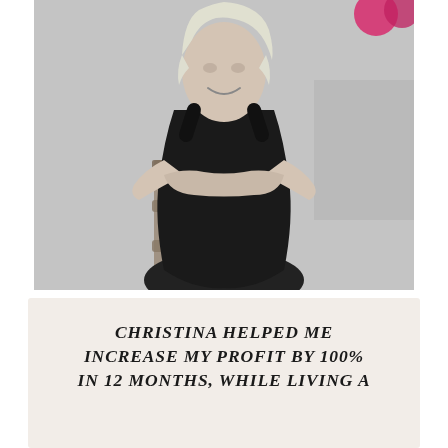[Figure (photo): Black and white photo of a smiling blonde woman in a black sleeveless dress, leaning with arms crossed on a rustic wooden stool/chair, casual portrait setting]
CHRISTINA HELPED ME INCREASE MY PROFIT BY 100% IN 12 MONTHS, WHILE LIVING A